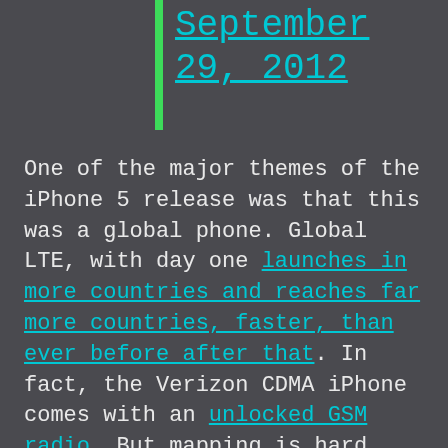September 29, 2012
One of the major themes of the iPhone 5 release was that this was a global phone. Global LTE, with day one launches in more countries and reaches far more countries, faster, than ever before after that. In fact, the Verizon CDMA iPhone comes with an unlocked GSM radio. But mapping is hard, and that problem becomes orders of magnitude more difficult with each inch of the planet that needs to be covered.